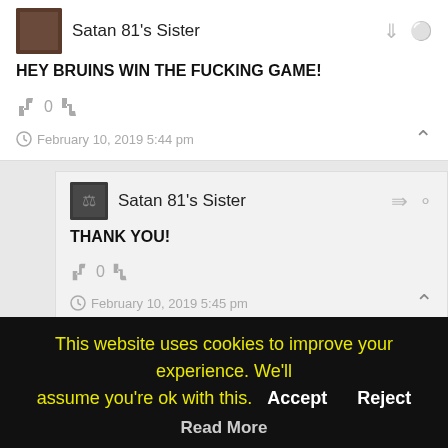Satan 81's Sister
HEY BRUINS WIN THE FUCKING GAME!
0
February 10, 2019 5:44 pm
Satan 81's Sister
THANK YOU!
0
February 10, 2019 5:45 pm
This website uses cookies to improve your experience. We'll assume you're ok with this.
Accept
Reject
Read More